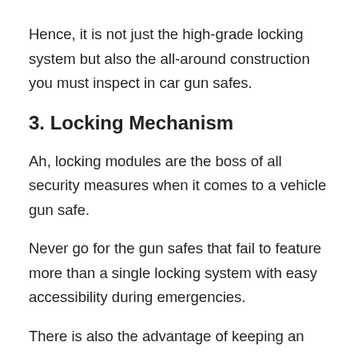Hence, it is not just the high-grade locking system but also the all-around construction you must inspect in car gun safes.
3. Locking Mechanism
Ah, locking modules are the boss of all security measures when it comes to a vehicle gun safe.
Never go for the gun safes that fail to feature more than a single locking system with easy accessibility during emergencies.
There is also the advantage of keeping an